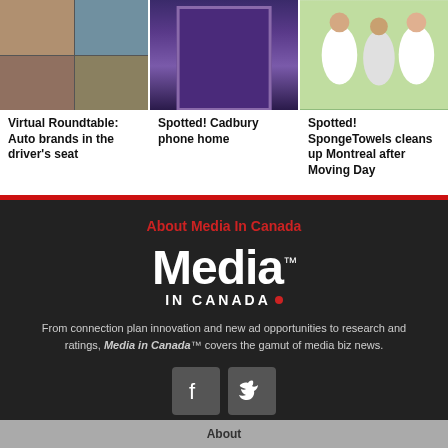[Figure (photo): Virtual roundtable video call grid showing multiple participants]
Virtual Roundtable: Auto brands in the driver's seat
[Figure (photo): Spotted! Cadbury phone home - purple door]
Spotted! Cadbury phone home
[Figure (photo): People wearing SpongeTowels branded t-shirts walking outdoors]
Spotted! SpongeTowels cleans up Montreal after Moving Day
About Media In Canada
[Figure (logo): Media in Canada logo - white bold text with red dot]
From connection plan innovation and new ad opportunities to research and ratings, Media in Canada™ covers the gamut of media biz news.
[Figure (illustration): Facebook and Twitter social media icons]
About